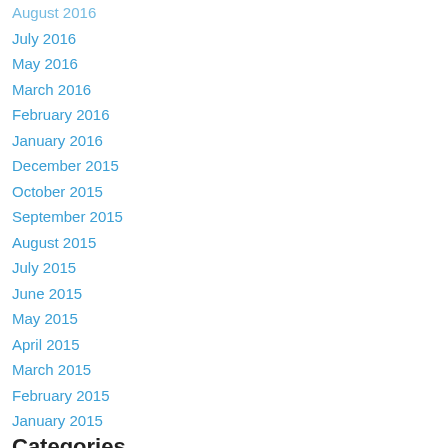August 2016
July 2016
May 2016
March 2016
February 2016
January 2016
December 2015
October 2015
September 2015
August 2015
July 2015
June 2015
May 2015
April 2015
March 2015
February 2015
January 2015
Categories
All
RSS Feed